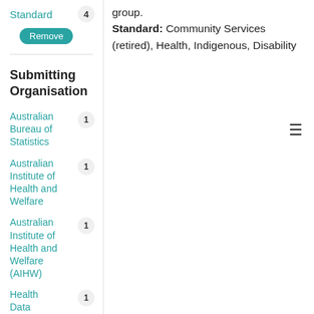Standard 4
Remove
Submitting Organisation
Australian Bureau of Statistics 1
Australian Institute of Health and Welfare 1
Australian Institute of Health and Welfare (AIHW) 1
Health Data 1
group.
Standard: Community Services (retired), Health, Indigenous, Disability